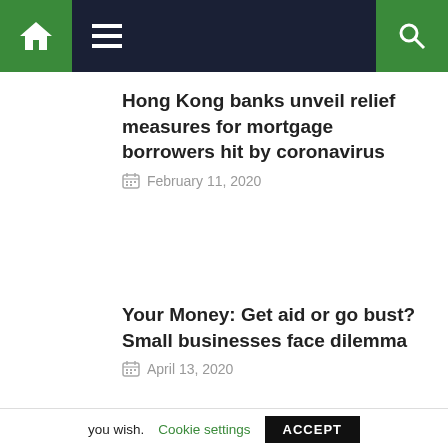Navigation bar with home, menu, and search icons
Hong Kong banks unveil relief measures for mortgage borrowers hit by coronavirus
February 11, 2020
Your Money: Get aid or go bust? Small businesses face dilemma
April 13, 2020
This website uses cookies to improve your experience. We'll assume you're ok with this, but you can opt-out if you wish. Cookie settings ACCEPT